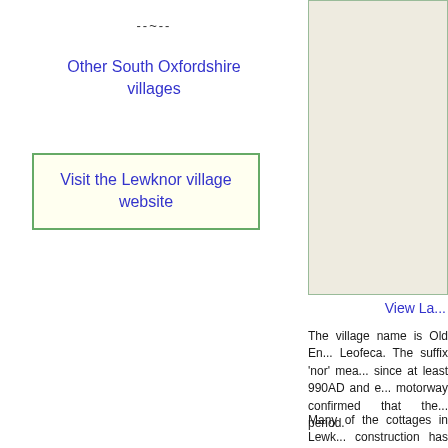--~--
Other South Oxfordshire villages
Visit the Lewknor village website
[Figure (map): Map area showing Lewknor village location, partially visible, with beige/green styling and border]
View La...
The village name is Old En... Leofeca. The suffix 'nor' mea... since at least 990AD and e... motorway confirmed that the... period.
Many of the cottages in Lewk... construction has been sympa... materials. At the centre of th...